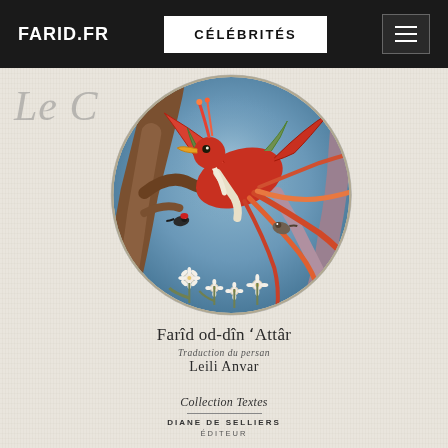FARID.FR  |  CÉLÉBRITÉS
[Figure (illustration): Circular Persian miniature painting depicting a phoenix or Simurgh bird in red and green among swirling flames and foliage on a blue background, with other smaller birds visible.]
Le C...
Farîd od-dîn 'Attâr
Traduction du persan
Leili Anvar
Collection Textes
DIANE DE SELLIERS
ÉDITEUR